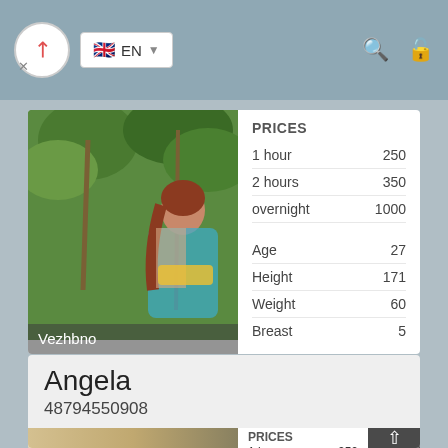EN
[Figure (photo): Profile photo of a woman in tropical outdoor setting, labeled Vezhbno]
| PRICES |  |
| --- | --- |
| 1 hour | 250 |
| 2 hours | 350 |
| overnight | 1000 |
| Age | 27 |
| Height | 171 |
| Weight | 60 |
| Breast | 5 |
Angela
48794550908
[Figure (photo): Profile photo of a blonde woman]
| PRICES |  |
| --- | --- |
| 1 hour | 250 |
| 2 hours | 350 |